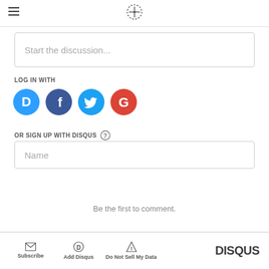Start the discussion...
LOG IN WITH
[Figure (other): Social login icons: Disqus (blue), Facebook (dark blue), Twitter (light blue), Google (red)]
OR SIGN UP WITH DISQUS
Name
Be the first to comment.
Subscribe  Add Disqus  Do Not Sell My Data  DISQUS